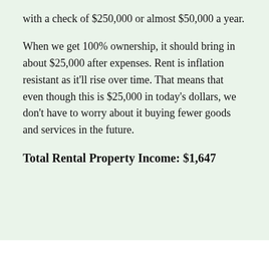with a check of $250,000 or almost $50,000 a year.
When we get 100% ownership, it should bring in about $25,000 after expenses. Rent is inflation resistant as it'll rise over time. That means that even though this is $25,000 in today's dollars, we don't have to worry about it buying fewer goods and services in the future.
Total Rental Property Income: $1,647